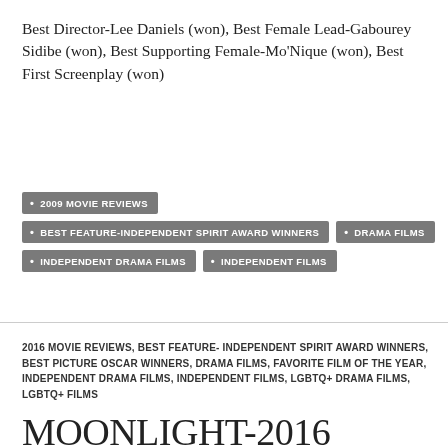Best Director-Lee Daniels (won), Best Female Lead-Gabourey Sidibe (won), Best Supporting Female-Mo'Nique (won), Best First Screenplay (won)
2009 MOVIE REVIEWS
BEST FEATURE-INDEPENDENT SPIRIT AWARD WINNERS
DRAMA FILMS
INDEPENDENT DRAMA FILMS
INDEPENDENT FILMS
2016 MOVIE REVIEWS, BEST FEATURE- INDEPENDENT SPIRIT AWARD WINNERS, BEST PICTURE OSCAR WINNERS, DRAMA FILMS, FAVORITE FILM OF THE YEAR, INDEPENDENT DRAMA FILMS, INDEPENDENT FILMS, LGBTQ+ DRAMA FILMS, LGBTQ+ FILMS
MOONLIGHT-2016
NOVEMBER 6, 2016  LEAVE A COMMENT